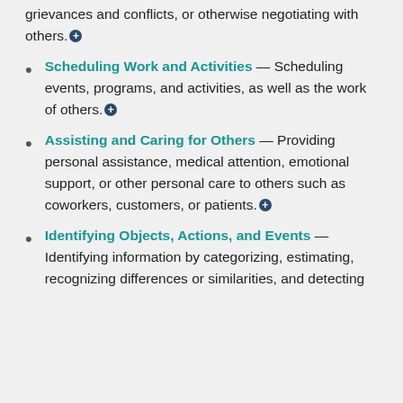grievances and conflicts, or otherwise negotiating with others.+
Scheduling Work and Activities — Scheduling events, programs, and activities, as well as the work of others.+
Assisting and Caring for Others — Providing personal assistance, medical attention, emotional support, or other personal care to others such as coworkers, customers, or patients.+
Identifying Objects, Actions, and Events — Identifying information by categorizing, estimating, recognizing differences or similarities, and detecting